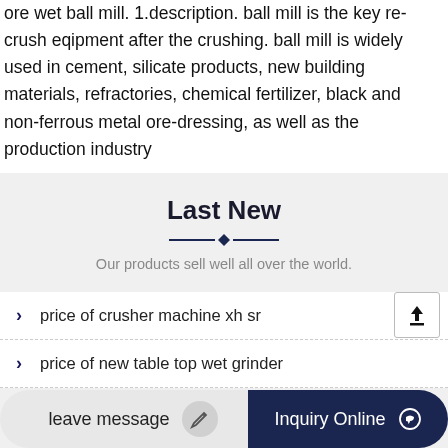ore wet ball mill. 1.description. ball mill is the key re-crush eqipment after the crushing. ball mill is widely used in cement, silicate products, new building materials, refractories, chemical fertilizer, black and non-ferrous metal ore-dressing, as well as the production industry
Last New
Our products sell well all over the world.
price of crusher machine xh sr
price of new table top wet grinder
leave message | Inquiry Online